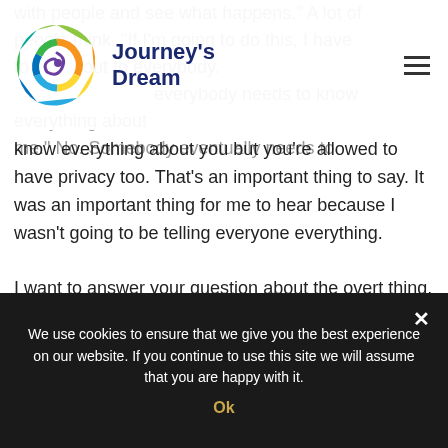[Figure (logo): Journey's Dream logo with colorful circular wheel icon and dark blue brand text]
with people and see what happens." A lot of people think, "If I'm going to do this, I have to come out to everybody. Everybody needs to know everything about me." No. Somebody eventually needs to know everything about you but you're allowed to have privacy too. That's an important thing to say. It was an important thing for me to hear because I wasn't going to be telling everyone everything.

I want to answer your question about the overt thing. I also had been in therapy for
We use cookies to ensure that we give you the best experience on our website. If you continue to use this site we will assume that you are happy with it.
Ok